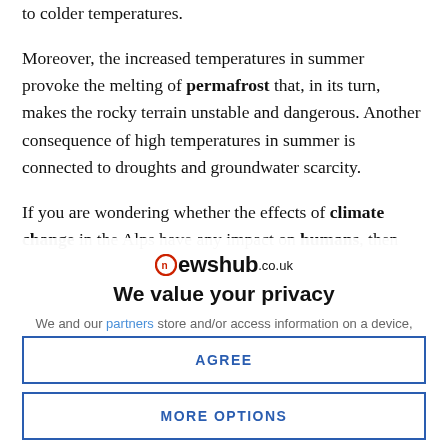to colder temperatures.
Moreover, the increased temperatures in summer provoke the melting of permafrost that, in its turn, makes the rocky terrain unstable and dangerous. Another consequence of high temperatures in summer is connected to droughts and groundwater scarcity.
If you are wondering whether the effects of climate change in the Alps have any impact on humans, then
[Figure (screenshot): Newshub.co.uk privacy consent overlay with logo, 'We value your privacy' heading, privacy text, AGREE button, and MORE OPTIONS button]